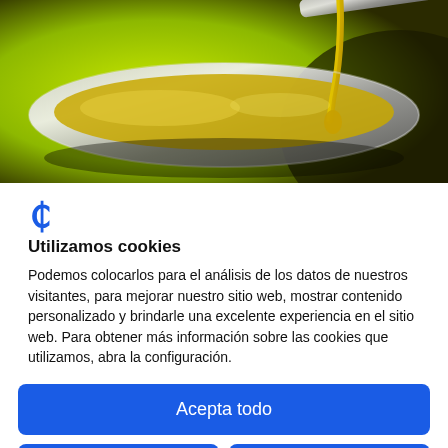[Figure (photo): Close-up photo of golden olive oil being poured onto a metallic spoon against a bright yellow-green background]
[Figure (logo): Blue stylized letter C/F logo icon]
Utilizamos cookies
Podemos colocarlos para el análisis de los datos de nuestros visitantes, para mejorar nuestro sitio web, mostrar contenido personalizado y brindarle una excelente experiencia en el sitio web. Para obtener más información sobre las cookies que utilizamos, abra la configuración.
Acepta todo
Rechaza
No, ajuste